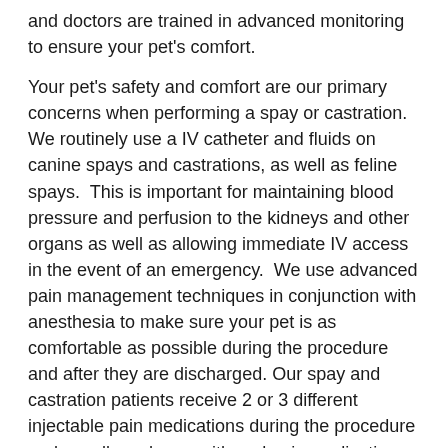and doctors are trained in advanced monitoring to ensure your pet's comfort.

Your pet's safety and comfort are our primary concerns when performing a spay or castration. We routinely use a IV catheter and fluids on canine spays and castrations, as well as feline spays. This is important for maintaining blood pressure and perfusion to the kidneys and other organs as well as allowing immediate IV access in the event of an emergency. We use advanced pain management techniques in conjunction with anesthesia to make sure your pet is as comfortable as possible during the procedure and after they are discharged. Our spay and castration patients receive 2 or 3 different injectable pain medications during the procedure and usually go home with oral pain medication. We also perform local anesthetic blocks at the surgical site. Proper pain management makes the procedure as comfortable as possible and allows for faster recovery.